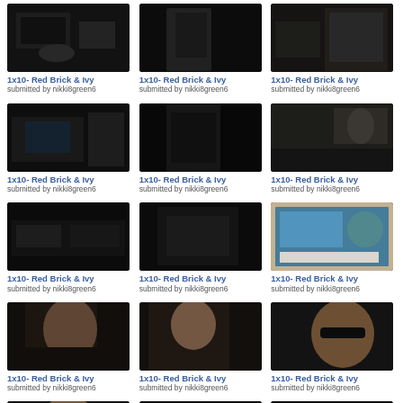[Figure (screenshot): TV episode screenshot - dark scene, office setting]
1x10- Red Brick & Ivy
submitted by nikki8green6
[Figure (screenshot): TV episode screenshot - dark scene]
1x10- Red Brick & Ivy
submitted by nikki8green6
[Figure (screenshot): TV episode screenshot - dark scene]
1x10- Red Brick & Ivy
submitted by nikki8green6
[Figure (screenshot): TV episode screenshot - dark office scene]
1x10- Red Brick & Ivy
submitted by nikki8green6
[Figure (screenshot): TV episode screenshot - man in suit]
1x10- Red Brick & Ivy
submitted by nikki8green6
[Figure (screenshot): TV episode screenshot - man at desk]
1x10- Red Brick & Ivy
submitted by nikki8green6
[Figure (screenshot): TV episode screenshot - dark scene with monitors]
1x10- Red Brick & Ivy
submitted by nikki8green6
[Figure (screenshot): TV episode screenshot - dark scene, figures]
1x10- Red Brick & Ivy
submitted by nikki8green6
[Figure (screenshot): TV episode screenshot - computer screen with maps]
1x10- Red Brick & Ivy
submitted by nikki8green6
[Figure (screenshot): TV episode screenshot - blonde woman]
1x10- Red Brick & Ivy
submitted by nikki8green6
[Figure (screenshot): TV episode screenshot - blonde woman profile]
1x10- Red Brick & Ivy
submitted by nikki8green6
[Figure (screenshot): TV episode screenshot - man with sunglasses]
1x10- Red Brick & Ivy
submitted by nikki8green6
[Figure (screenshot): TV episode screenshot - man with sunglasses smiling]
1x10- Red Brick & Ivy
submitted by nikki8green6
[Figure (screenshot): TV episode screenshot - older man]
1x10- Red Brick & Ivy
submitted by nikki8green6
[Figure (screenshot): TV episode screenshot - older man looking down]
1x10- Red Brick & Ivy
submitted by nikki8green6